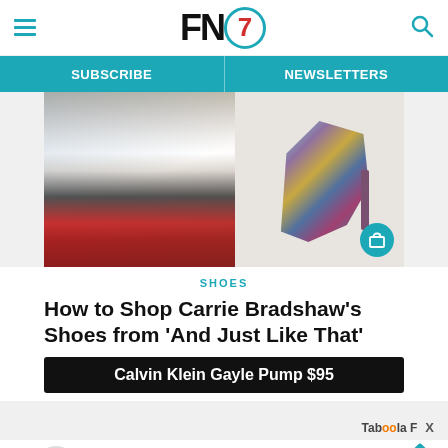FN7 — Footwear News logo with hamburger menu and search icon
SUBSCRIBE | NEWSLETTERS
[Figure (photo): Two-panel image: left panel shows a woman holding a colorful bag with a red patterned garment, right panel shows a multicolored platform high-heel shoe with a teal shopping bag icon overlay]
SHOES
How to Shop Carrie Bradshaw’s Shoes from ‘And Just Like That’
Calvin Klein Gayle Pump $95
Tabóùla
[Figure (photo): Walgreens advertisement banner: Powered By Walgreens, Walgreens Photo, with Walgreens W logo and teal diamond icon]